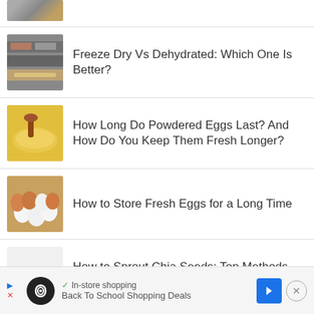[Figure (photo): Partial thumbnail of food/dehydrator trays at top of page, cropped]
Freeze Dry Vs Dehydrated: Which One Is Better?
How Long Do Powdered Eggs Last? And How Do You Keep Them Fresh Longer?
How to Store Fresh Eggs for a Long Time
How to Sprout Chia Seeds: Top Methods You Can Try
[Figure (screenshot): Advertisement bar at bottom: In-store shopping with logo, Back To School Shopping Deals, navigation arrow, close button]